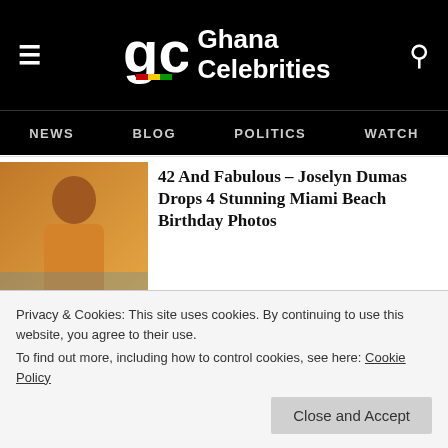Ghana Celebrities — NEWS  BLOG  POLITICS  WATCH
[Figure (photo): Woman in orange dress at Miami beach]
42 And Fabulous – Joselyn Dumas Drops 4 Stunning Miami Beach Birthday Photos
[Figure (photo): Close-up of woman's face at event]
Don't Try Your Nonsense On Me Or You'll Regret It – Empress Gifty Osei Insults Delay After Roasting
Privacy & Cookies: This site uses cookies. By continuing to use this website, you agree to their use.
To find out more, including how to control cookies, see here: Cookie Policy
[Figure (photo): Partial photo at bottom of page]
Elders Over Tithes Money – Social